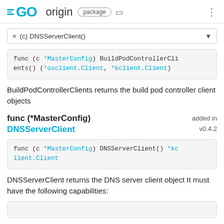GO origin package
≡ (c) DNSServerClient()
func (c *MasterConfig) BuildPodControllerClients() (*osclient.Client, *kclient.Client)
BuildPodControllerClients returns the build pod controller client objects
func (*MasterConfig) DNSServerClient
added in v0.4.2
func (c *MasterConfig) DNSServerClient() *kclient.Client
DNSServerClient returns the DNS server client object It must have the following capabilities: